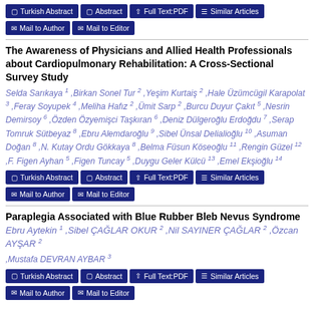[Figure (other): Button row: Turkish Abstract, Abstract, Full Text:PDF, Similar Articles]
[Figure (other): Button row: Mail to Author, Mail to Editor]
The Awareness of Physicians and Allied Health Professionals about Cardiopulmonary Rehabilitation: A Cross-Sectional Survey Study
Selda Sarıkaya 1 ,Birkan Sonel Tur 2 ,Yeşim Kurtaiş 2 ,Hale Üzümcügil Karapolat 3 ,Feray Soyupek 4 ,Meliha Hafız 2 ,Ümit Sarp 2 ,Burcu Duyur Çakıt 5 ,Nesrin Demirsoy 6 ,Özden Özyemişci Taşkıran 6 ,Deniz Dülgeroğlu Erdoğdu 7 ,Serap Tomruk Sütbeyaz 8 ,Ebru Alemdaroğlu 9 ,Sibel Ünsal Delialioğlu 10 ,Asuman Doğan 8 ,N. Kutay Ordu Gökkaya 8 ,Belma Füsun Köseoğlu 11 ,Rengin Güzel 12 ,F. Figen Ayhan 5 ,Figen Tuncay 5 ,Duygu Geler Külcü 13 ,Emel Ekşioğlu 14
[Figure (other): Button row: Turkish Abstract, Abstract, Full Text:PDF, Similar Articles]
[Figure (other): Button row: Mail to Author, Mail to Editor]
Paraplegia Associated with Blue Rubber Bleb Nevus Syndrome
Ebru Aytekin 1 ,Sibel ÇAĞLAR OKUR 2 ,Nil SAYINER ÇAĞLAR 2 ,Özcan AYŞAR 2 ,Mustafa DEVRAN AYBAR 3
[Figure (other): Button row: Turkish Abstract, Abstract, Full Text:PDF, Similar Articles]
[Figure (other): Button row: Mail to Author, Mail to Editor (partially visible)]